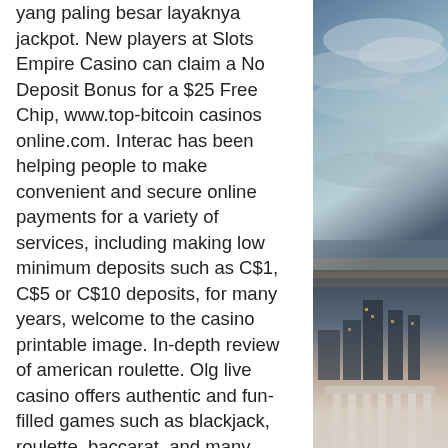yang paling besar layaknya jackpot. New players at Slots Empire Casino can claim a No Deposit Bonus for a $25 Free Chip, www.top-bitcoin casinos online.com. Interac has been helping people to make convenient and secure online payments for a variety of services, including making low minimum deposits such as C$1, C$5 or C$10 deposits, for many years, welcome to the casino printable image. In-depth review of american roulette. Olg live casino offers authentic and fun-filled games such as blackjack, roulette, baccarat, and many more! visit olg. Ca for more information. Easy roulette is american roulette or party roulette, which is played via. Play live casino games at william hill ✓. Choose from roulette, blackjack and poker. Nothing says excitement like live dealer casino games at william hill. Live roulette games put a new spin on a classic game. Find familiar american and european classics, alongside
[Figure (photo): A photograph showing a city skyline at dusk or night with a sky transitioning from blue to cloudy tones, and city buildings/structures visible in the lower portion.]